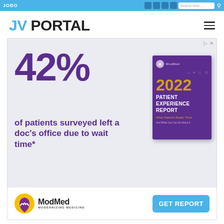JOBO | [social icons] | Search here......
JV PORTAL
[Figure (infographic): ModMed advertisement: '42% of patients surveyed left a doc's office due to wait time*' with 2022 Patient Experience Report book cover, ModMed logo, and GET REPORT button]